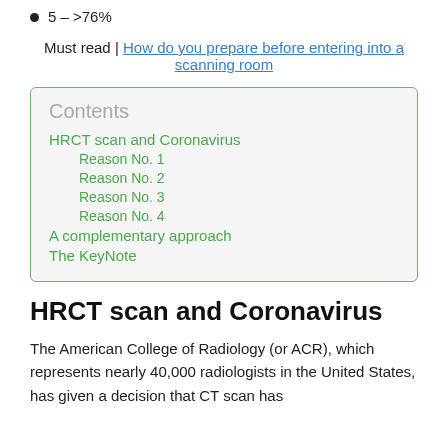5 – >76%
Must read | How do you prepare before entering into a scanning room
Contents
HRCT scan and Coronavirus
Reason No. 1
Reason No. 2
Reason No. 3
Reason No. 4
A complementary approach
The KeyNote
HRCT scan and Coronavirus
The American College of Radiology (or ACR), which represents nearly 40,000 radiologists in the United States, has given a decision that CT scan has...